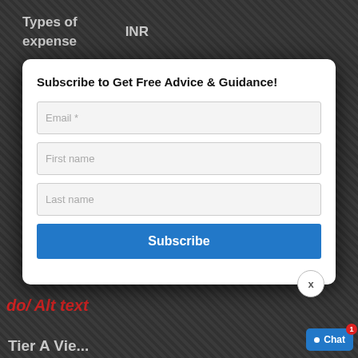| Types of expense | INR |
| --- | --- |
| Housing | ₹50,000 |
[Figure (screenshot): Subscribe modal popup with email, first name, last name fields and a Subscribe button, overlaying a financial table about expense types in INR]
Subscribe to Get Free Advice & Guidance!
Email *
First name
Last name
Subscribe
x